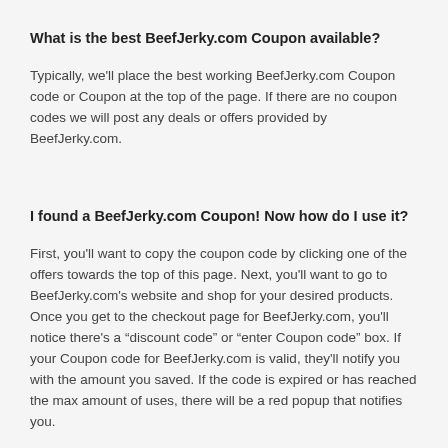What is the best BeefJerky.com Coupon available?
Typically, we'll place the best working BeefJerky.com Coupon code or Coupon at the top of the page. If there are no coupon codes we will post any deals or offers provided by BeefJerky.com.
I found a BeefJerky.com Coupon! Now how do I use it?
First, you'll want to copy the coupon code by clicking one of the offers towards the top of this page. Next, you'll want to go to BeefJerky.com's website and shop for your desired products. Once you get to the checkout page for BeefJerky.com, you'll notice there's a “discount code” or “enter Coupon code” box. If your Coupon code for BeefJerky.com is valid, they'll notify you with the amount you saved. If the code is expired or has reached the max amount of uses, there will be a red popup that notifies you.
When are the best times to find BeefJerky.com's online coupon?
The best times to search for BeefJerky.com's discount codes are during